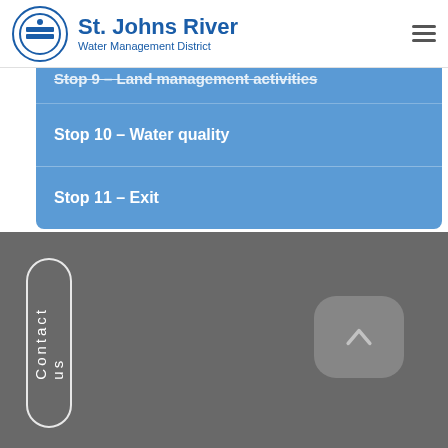St. Johns River Water Management District
Stop 9 – Land management activities
Stop 10 - Water quality
Stop 11 - Exit
Contact us
[Figure (infographic): Back to top arrow button, rounded rectangle shape with chevron up arrow]